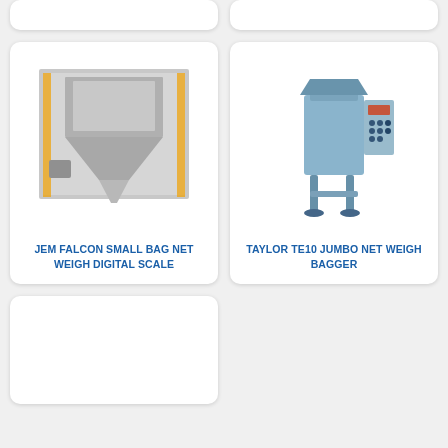[Figure (photo): Partial top card left - white rounded card, cropped at top]
[Figure (photo): Partial top card right - white rounded card, cropped at top]
[Figure (photo): JEM Falcon Small Bag Net Weigh Digital Scale - industrial weighing machine with large hopper funnel]
JEM FALCON SMALL BAG NET WEIGH DIGITAL SCALE
[Figure (photo): Taylor TE10 Jumbo Net Weigh Bagger - blue industrial bagging machine with control panel]
TAYLOR TE10 JUMBO NET WEIGH BAGGER
[Figure (photo): Partial bottom card left - white rounded card, cropped at bottom]